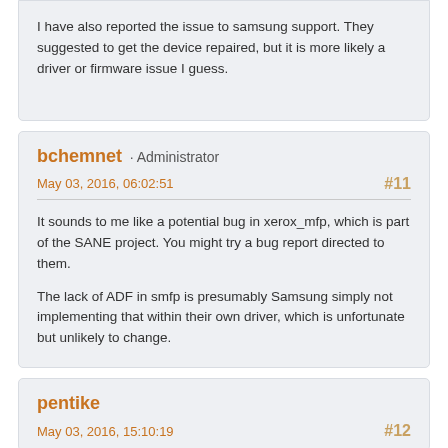I have also reported the issue to samsung support. They suggested to get the device repaired, but it is more likely a driver or firmware issue I guess.
bchemnet · Administrator
May 03, 2016, 06:02:51
#11
It sounds to me like a potential bug in xerox_mfp, which is part of the SANE project.  You might try a bug report directed to them.

The lack of ADF in smfp is presumably Samsung simply not implementing that within their own driver, which is unfortunate but unlikely to change.
pentike
May 03, 2016, 15:10:19
#12